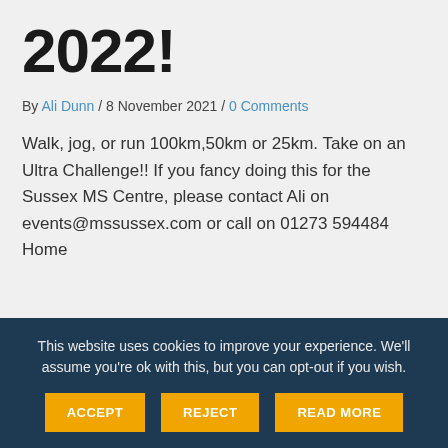2022!
By Ali Dunn / 8 November 2021 / 0 Comments
Walk, jog, or run 100km,50km or 25km. Take on an Ultra Challenge!! If you fancy doing this for the Sussex MS Centre, please contact Ali on events@mssussex.com or call on 01273 594484 Home
This website uses cookies to improve your experience. We'll assume you're ok with this, but you can opt-out if you wish. ACCEPT REJECT READ MORE